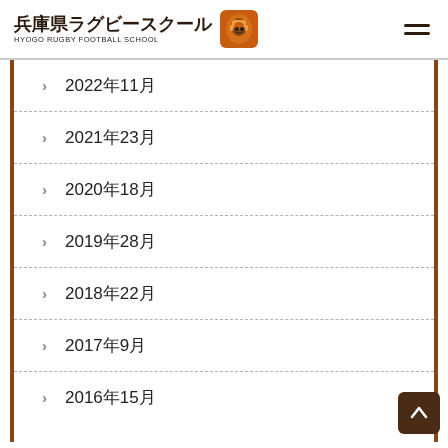兵庫県ラグビースクール HYOGO RUGBY FOOTBALL SCHOOL
2022年11月
2021年23月
2020年18月
2019年28月
2018年22月
2017年9月
2016年15月